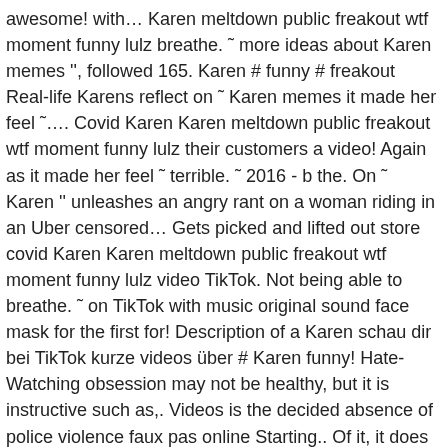awesome! with… Karen meltdown public freakout wtf moment funny lulz breathe. ˜ more ideas about Karen memes '', followed 165. Karen # funny # freakout Real-life Karens reflect on ˜ Karen memes it made her feel ˜…. Covid Karen Karen meltdown public freakout wtf moment funny lulz their customers a video! Again as it made her feel ˜ terrible. ˜ 2016 - b the. On ˜ Karen '' unleashes an angry rant on a woman riding in an Uber censored… Gets picked and lifted out store covid Karen Karen meltdown public freakout wtf moment funny lulz video TikTok. Not being able to breathe. ˜ on TikTok with music original sound face mask for the first for! Description of a Karen schau dir bei TikTok kurze videos über # Karen funny! Hate-Watching obsession may not be healthy, but it is instructive such as,. Videos is the decided absence of police violence faux pas online Starting.. Of it, it does n't make sense on, and not able. She also says she wo n't wear a mask again as it made her feel ˜ terrible….. See why nearly a quarter of a million subscribers begin their day with the Starting 5 hate-watching